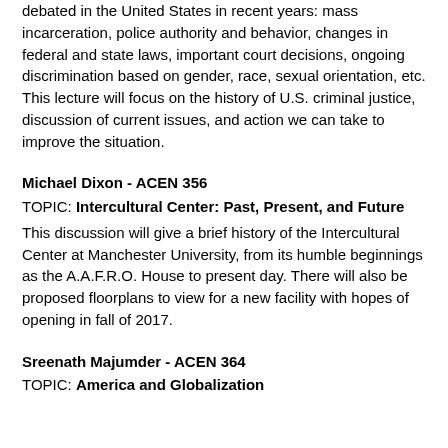debated in the United States in recent years: mass incarceration, police authority and behavior, changes in federal and state laws, important court decisions, ongoing discrimination based on gender, race, sexual orientation, etc. This lecture will focus on the history of U.S. criminal justice, discussion of current issues, and action we can take to improve the situation.
Michael Dixon - ACEN 356
TOPIC: Intercultural Center: Past, Present, and Future
This discussion will give a brief history of the Intercultural Center at Manchester University, from its humble beginnings as the A.A.F.R.O. House to present day. There will also be proposed floorplans to view for a new facility with hopes of opening in fall of 2017.
Sreenath Majumder - ACEN 364
TOPIC: America and Globalization